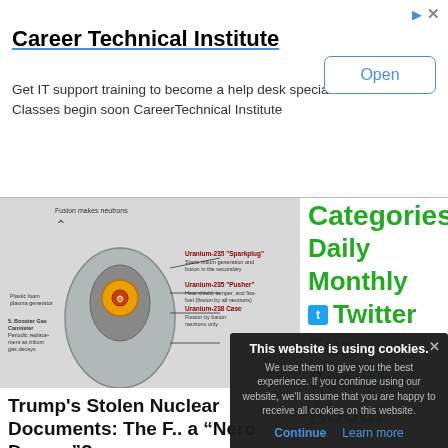[Figure (screenshot): Advertisement for Career Technical Institute with Open button]
Career Technical Institute
Get IT support training to become a help desk specialist. Classes begin soon CareerTechnical Institute
[Figure (illustration): Nuclear bomb diagram with labeled components including Uranium-235 Sparkplug, Pusher, and Uranium-238 Case. Red text overlay reads: use to reverse-engineer & bypass the failsafes on nukes and take out the 'backstabbers' as a last resort?]
Categories
Daily
Monthly
Twitter
Fun
Search
About
Trump's Stolen Nuclear Documents: The F... a “Nero Decree”?
By Khal Wimpo (free internal organs upo...
1 week, 1 day ago
Views: 863 • Comments: 1 • Rating: 1
Tweets: 34 •
[Figure (photo): Dark fabric with stars pattern, appears to be an American flag-themed item]
This website is using cookies. We use them to give you the best experience. If you continue using our website, we'll assume that you are happy to receive all cookies on this website.
Continue  Learn more